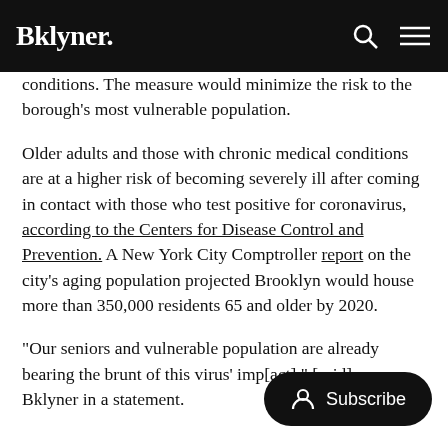Bklyner.
conditions. The measure would minimize the risk to the borough's most vulnerable population.
Older adults and those with chronic medical conditions are at a higher risk of becoming severely ill after coming in contact with those who test positive for coronavirus, according to the Centers for Disease Control and Prevention. A New York City Comptroller report on the city's aging population projected Brooklyn would house more than 350,000 residents 65 and older by 2020.
“Our seniors and vulnerable population are already bearing the brunt of this virus’ imp[act],” [said] Bklyner in a statement.